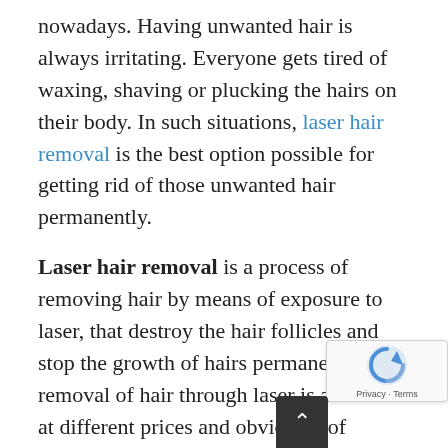nowadays. Having unwanted hair is always irritating. Everyone gets tired of waxing, shaving or plucking the hairs on their body. In such situations, laser hair removal is the best option possible for getting rid of those unwanted hair permanently.
Laser hair removal is a process of removing hair by means of exposure to laser, that destroy the hair follicles and stop the growth of hairs permanently. The removal of hair through laser is available at different prices and obviously of different quality. Hair removal can be time consuming but it works best when it comes to hair removal [through]